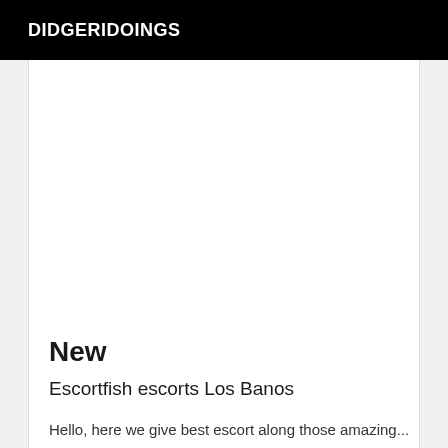DIDGERIDOINGS
New
Escortfish escorts Los Banos
Hello, here we give best escort along those amazing...